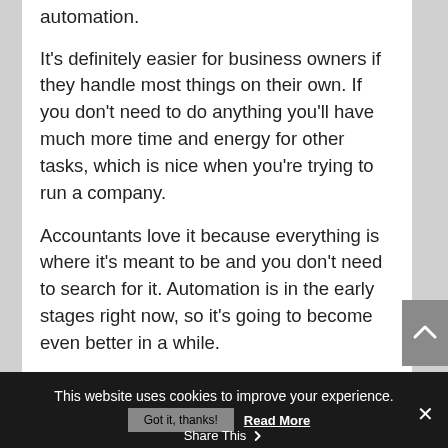automation.
It's definitely easier for business owners if they handle most things on their own. If you don't need to do anything you'll have much more time and energy for other tasks, which is nice when you're trying to run a company.
Accountants love it because everything is where it's meant to be and you don't need to search for it. Automation is in the early stages right now, so it's going to become even better in a while.
4. Decentralizing
This website uses cookies to improve your experience.
Got it, thanks!   Read More
Share This